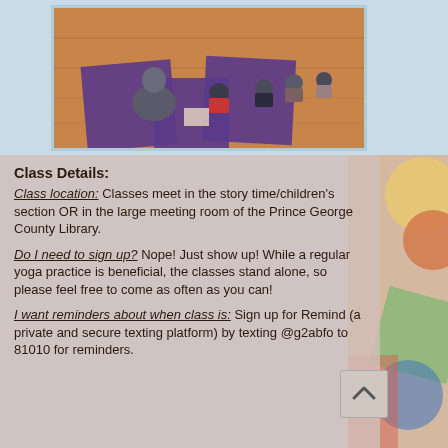[Figure (photo): Photo of a yoga class with children and an adult sitting on purple yoga mats on a wooden floor, viewed from behind the instructor.]
Class Details:
Class location: Classes meet in the story time/children's section OR in the large meeting room of the Prince George County Library.
Do I need to sign up? Nope! Just show up! While a regular yoga practice is beneficial, the classes stand alone, so please feel free to come as often as you can!
I want reminders about when class is: Sign up for Remind (a private and secure texting platform) by texting @g2abfo to 81010 for reminders.